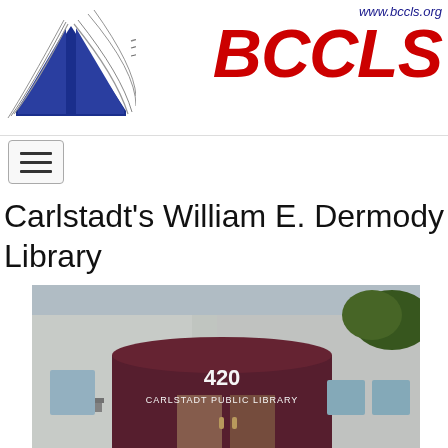[Figure (logo): BCCLS logo with open book icon in blue and red italic BCCLS text with www.bccls.org URL]
Carlstadt's William E. Dermody Library
[Figure (photo): Exterior photo of the Carlstadt Public Library building at 420, showing a dark maroon awning entrance with the text '420 CARLSTADT PUBLIC LIBRARY']